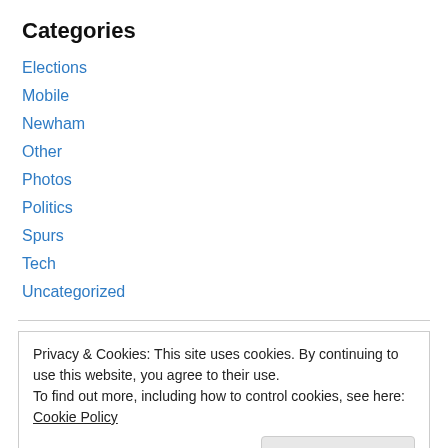Categories
Elections
Mobile
Newham
Other
Photos
Politics
Spurs
Tech
Uncategorized
Privacy & Cookies: This site uses cookies. By continuing to use this website, you agree to their use.
To find out more, including how to control cookies, see here: Cookie Policy
Close and accept
December 2021